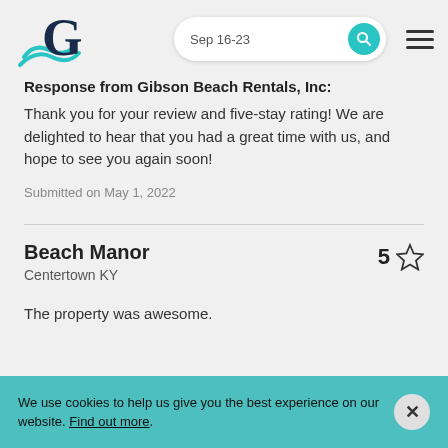[Figure (logo): Gibson Beach Rentals logo with stylized G and teal wave]
Sep 16-23
Response from Gibson Beach Rentals, Inc:
Thank you for your review and five-stay rating! We are delighted to hear that you had a great time with us, and hope to see you again soon!
Submitted on May 1, 2022
Beach Manor
Centertown KY
5
The property was awesome.
We use cookies to help us give you the best experience on our website. Find out more.